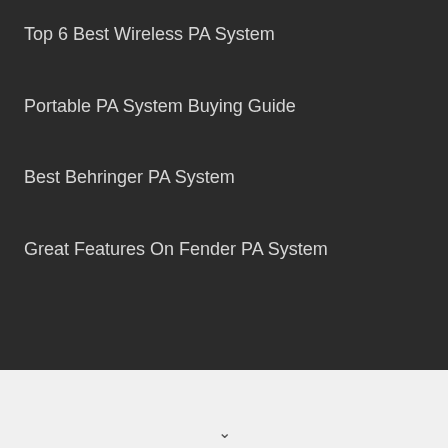Top 6 Best Wireless PA System
Portable PA System Buying Guide
Best Behringer PA System
Great Features On Fender PA System